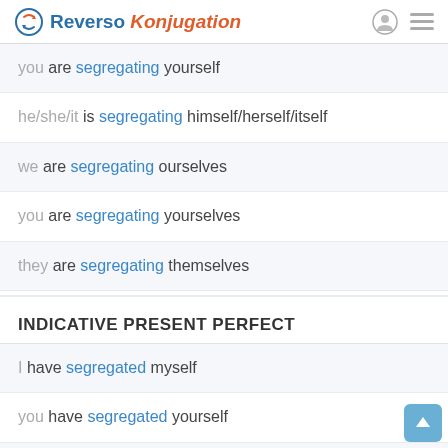Reverso Konjugation
you are segregating yourself
he/she/it is segregating himself/herself/itself
we are segregating ourselves
you are segregating yourselves
they are segregating themselves
INDICATIVE PRESENT PERFECT
I have segregated myself
you have segregated yourself
he/she/it has segregated himself/herself/itself
we have segregated ourselves